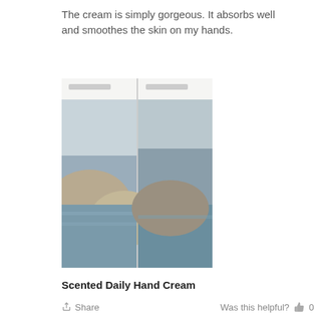The cream is simply gorgeous. It absorbs well and smoothes the skin on my hands.
[Figure (photo): Photo of a product booklet or brochure showing a coastal/beach landscape image, placed flat.]
Scented Daily Hand Cream
Share   Was this helpful? 0
Arianna R.  Verified Buyer  05/21/2021
[Figure (infographic): Special offer banner with red gift icon circle and text: Special offer for order above $50.00]
A very unusual scent for a hand cream. I like it.
[Figure (photo): Photo of a hand cream tube/product against green leafy background.]